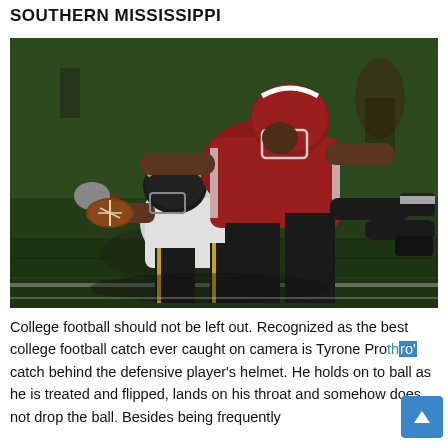SOUTHERN MISSISSIPPI
[Figure (photo): Football action photo showing a player in an Alabama crimson uniform making a tackle on a player in a white and black uniform on a grass field at night.]
College football should not be left out. Recognized as the best college football catch ever caught on camera is Tyrone Prothro's catch behind the defensive player's helmet. He holds on to the ball as he is treated and flipped, lands on his throat and somehow does not drop the ball. Besides being frequently